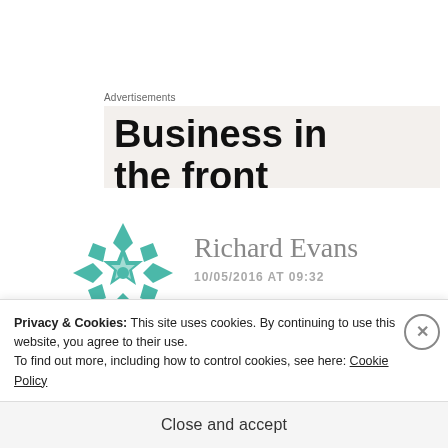Advertisements
[Figure (other): Advertisement banner with bold text 'Business in the front']
[Figure (logo): Teal geometric snowflake/cross avatar logo for user Richard Evans]
Richard Evans
10/05/2016 AT 09:32
All the same, I think the points
Privacy & Cookies: This site uses cookies. By continuing to use this website, you agree to their use. To find out more, including how to control cookies, see here: Cookie Policy
Close and accept